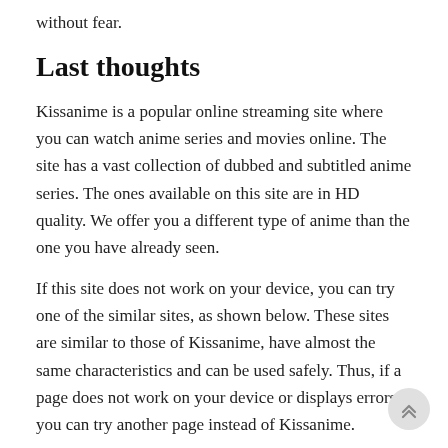without fear.
Last thoughts
Kissanime is a popular online streaming site where you can watch anime series and movies online. The site has a vast collection of dubbed and subtitled anime series. The ones available on this site are in HD quality. We offer you a different type of anime than the one you have already seen.
If this site does not work on your device, you can try one of the similar sites, as shown below. These sites are similar to those of Kissanime, have almost the same characteristics and can be used safely. Thus, if a page does not work on your device or displays errors, you can try another page instead of Kissanime.